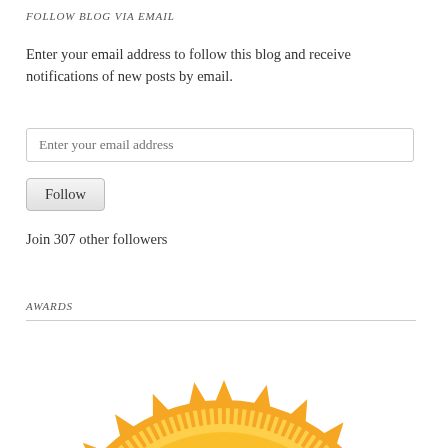FOLLOW BLOG VIA EMAIL
Enter your email address to follow this blog and receive notifications of new posts by email.
Join 307 other followers
AWARDS
[Figure (illustration): A golden sun-burst award medallion, partially visible from the bottom of the page, with radiating spikes and concentric circular ridges.]